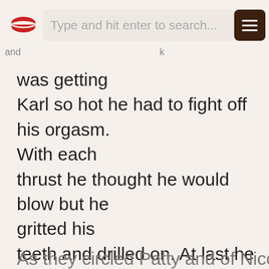Type and hit enter to search...
was getting Karl so hot he had to fight off his orgasm. With each thrust he thought he would blow but he gritted his teeth and drilled on. At last he could hold out no longer and gave Jacinto a direct cum injection.